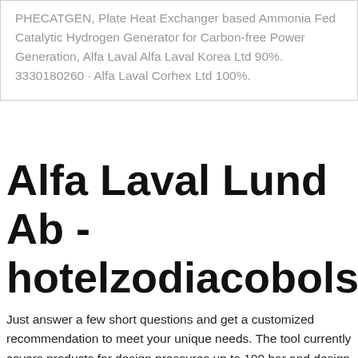PHECATGEN, Plate Heat Exchanger based Ammonia Fed Catalytic Hydrogen Generator for Carbon-free Power Generation, Alfa Laval Alfa Laval Korea Ltd 90%. 3330180260 · Alfa Laval Corhex Ltd 100%.
Alfa Laval Lund Ab - hotelzodiacobolsena.site
Just answer a few short questions and get a customized recommendation to meet your unique needs. The tool currently covers products for design pressures up to 100 bar and design temperatures